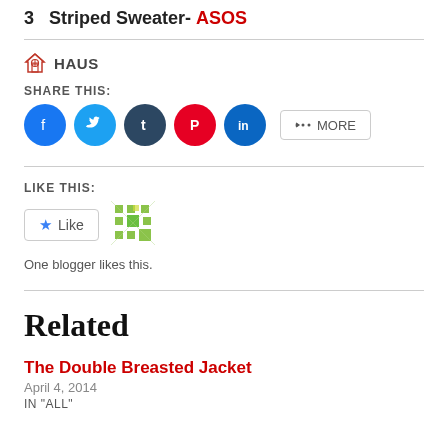3   Striped Sweater- ASOS
HAUS
SHARE THIS:
[Figure (other): Social share buttons: Facebook, Twitter, Tumblr, Pinterest, LinkedIn, and More]
LIKE THIS:
[Figure (other): Like button and blogger avatar tile]
One blogger likes this.
Related
The Double Breasted Jacket
April 4, 2014
IN "ALL"